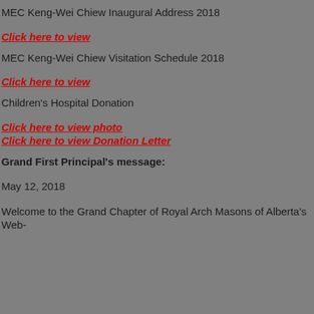MEC Keng-Wei Chiew Inaugural Address 2018
Click here to view
MEC Keng-Wei Chiew Visitation Schedule 2018
Click here to view
Children's Hospital Donation
Click here to view photo
Click here to view Donation Letter
Grand First Principal's message:
May 12, 2018
Welcome to the Grand Chapter of Royal Arch Masons of Alberta's Web-